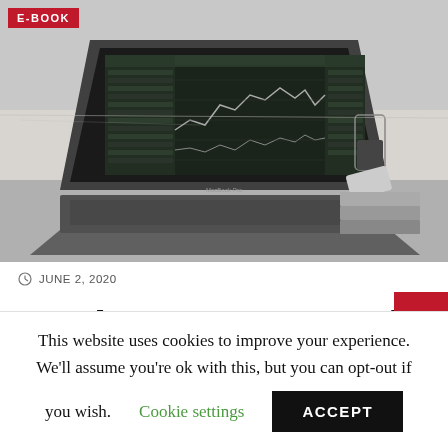[Figure (photo): Black and white photo of a laptop on a desk showing financial trading charts and data, with a glass of drink, phone, and notebooks in background. Red E-BOOK badge in top-left corner.]
JUNE 2, 2020
e-Book: Preserve Your Trad
This website uses cookies to improve your experience. We'll assume you're ok with this, but you can opt-out if you wish.   Cookie settings   ACCEPT